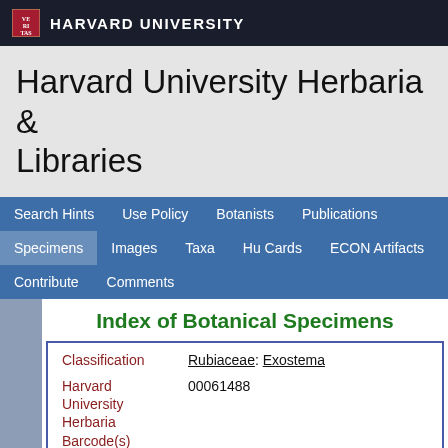HARVARD UNIVERSITY
Harvard University Herbaria & Libraries
Search Hints  Use Policy  Botanists  Publications  Specimens  Images  Taxa  Hu Cards  ECON Artifacts  Contribute  Comments
Index of Botanical Specimens
| Field | Value |
| --- | --- |
| Classification | Rubiaceae: Exostema |
| Harvard University Herbaria Barcode(s) | 00061488 |
| Type Status | Isotype |
| Collector | Br. Alain |
| Collector number | 14342 |
| Country | Dominican Republic |